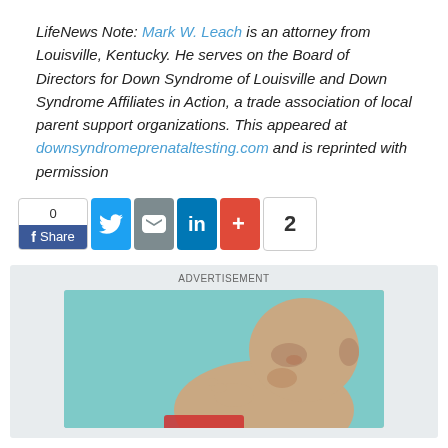LifeNews Note: Mark W. Leach is an attorney from Louisville, Kentucky. He serves on the Board of Directors for Down Syndrome of Louisville and Down Syndrome Affiliates in Action, a trade association of local parent support organizations. This appeared at downsyndromeprenataltesting.com and is reprinted with permission
[Figure (screenshot): Social sharing buttons row: Facebook share button (count 0), Twitter bird icon, Email envelope icon, LinkedIn 'in' icon, Google+ plus icon, share count showing 2]
[Figure (photo): Advertisement area showing a close-up photo of a fetus or newborn with teal/aqua background]